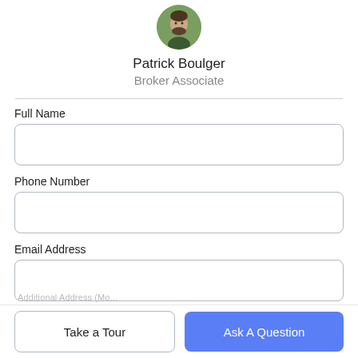[Figure (photo): Circular avatar photo of Patrick Boulger, a man with a beard, outdoors with green background]
Patrick Boulger
Broker Associate
Full Name
Phone Number
Email Address
Take a Tour
Ask A Question